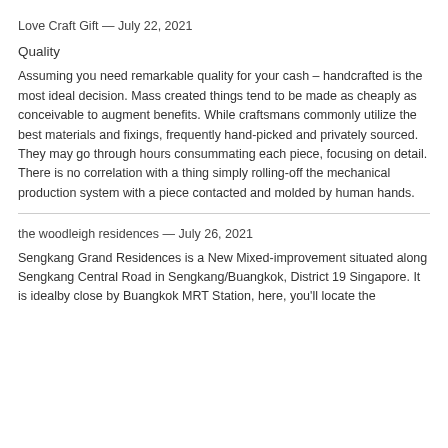Love Craft Gift — July 22, 2021
Quality
Assuming you need remarkable quality for your cash – handcrafted is the most ideal decision. Mass created things tend to be made as cheaply as conceivable to augment benefits. While craftsmans commonly utilize the best materials and fixings, frequently hand-picked and privately sourced. They may go through hours consummating each piece, focusing on detail. There is no correlation with a thing simply rolling-off the mechanical production system with a piece contacted and molded by human hands.
the woodleigh residences — July 26, 2021
Sengkang Grand Residences is a New Mixed-improvement situated along Sengkang Central Road in Sengkang/Buangkok, District 19 Singapore. It is idealby close by Buangkok MRT Station, here, you'll locate the